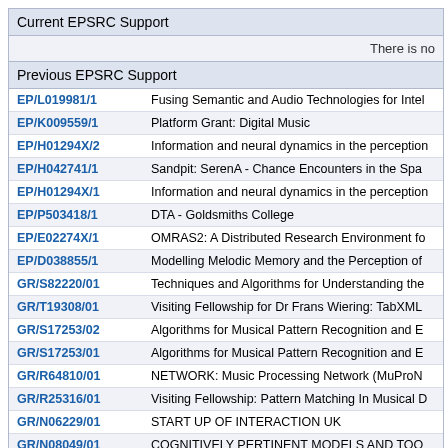Current EPSRC Support
There is no
Previous EPSRC Support
| Grant ID | Title |
| --- | --- |
| EP/L019981/1 | Fusing Semantic and Audio Technologies for Inte… |
| EP/K009559/1 | Platform Grant: Digital Music |
| EP/H01294X/2 | Information and neural dynamics in the perception… |
| EP/H042741/1 | Sandpit: SerenA - Chance Encounters in the Spa… |
| EP/H01294X/1 | Information and neural dynamics in the perception… |
| EP/P503418/1 | DTA - Goldsmiths College |
| EP/E02274X/1 | OMRAS2: A Distributed Research Environment fo… |
| EP/D038855/1 | Modelling Melodic Memory and the Perception of… |
| GR/S82220/01 | Techniques and Algorithms for Understanding the… |
| GR/T19308/01 | Visiting Fellowship for Dr Frans Wiering: TabXML… |
| GR/S17253/02 | Algorithms for Musical Pattern Recognition and E… |
| GR/S17253/01 | Algorithms for Musical Pattern Recognition and E… |
| GR/R64810/01 | NETWORK: Music Processing Network (MuProN… |
| GR/R25316/01 | Visiting Fellowship: Pattern Matching In Musical D… |
| GR/N06229/01 | START UP OF INTERACTION UK |
| GR/N08049/01 | COGNITIVELY PERTINENT MODELS AND TOO… MUSICAL DATA |
| GR/L99029/01 | AN AUTOMATED EAR TRAINING TOOL FOR TR… |